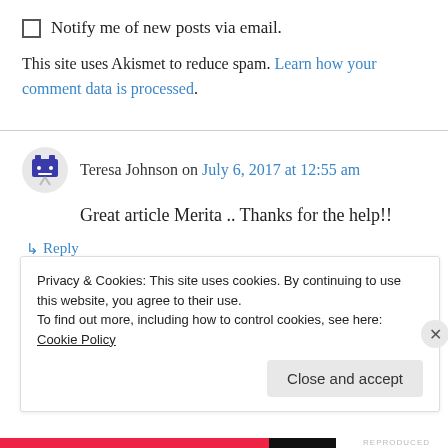Notify me of new posts via email.
This site uses Akismet to reduce spam. Learn how your comment data is processed.
Teresa Johnson on July 6, 2017 at 12:55 am
Great article Merita .. Thanks for the help!!
↳ Reply
Privacy & Cookies: This site uses cookies. By continuing to use this website, you agree to their use. To find out more, including how to control cookies, see here: Cookie Policy
Close and accept